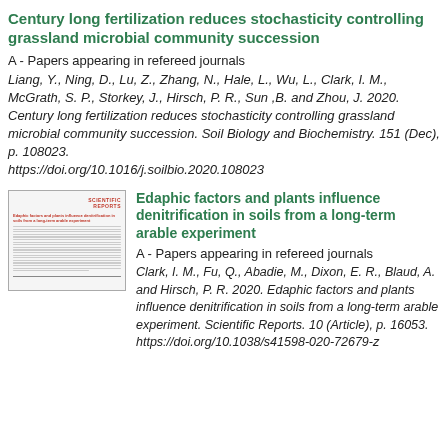Century long fertilization reduces stochasticity controlling grassland microbial community succession
A - Papers appearing in refereed journals
Liang, Y., Ning, D., Lu, Z., Zhang, N., Hale, L., Wu, L., Clark, I. M., McGrath, S. P., Storkey, J., Hirsch, P. R., Sun ,B. and Zhou, J. 2020. Century long fertilization reduces stochasticity controlling grassland microbial community succession. Soil Biology and Biochemistry. 151 (Dec), p. 108023. https://doi.org/10.1016/j.soilbio.2020.108023
[Figure (other): Thumbnail of Scientific Reports journal article page showing title and text columns]
Edaphic factors and plants influence denitrification in soils from a long-term arable experiment
A - Papers appearing in refereed journals
Clark, I. M., Fu, Q., Abadie, M., Dixon, E. R., Blaud, A. and Hirsch, P. R. 2020. Edaphic factors and plants influence denitrification in soils from a long-term arable experiment. Scientific Reports. 10 (Article), p. 16053. https://doi.org/10.1038/s41598-020-72679-z